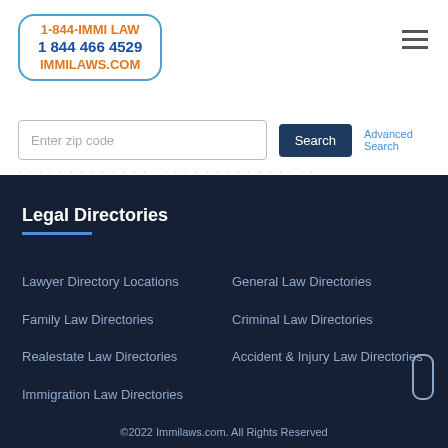[Figure (logo): Immilaws.com logo box with phone number 1-844-IMMI LAW, 1 844 466 4529, IMMILAWS.COM in orange and blue inside rounded border]
[Figure (other): Hamburger menu icon with 3 horizontal lines]
Enter zip code
Search
Advanced Search
Legal Directories
Lawyer Directory Locations
General Law Directories
Family Law Directories
Criminal Law Directories
Realestate Law Directories
Accident & Injury Law Directories
Immigration Law Directories
©2022 Immilaws.com. All Rights Reserved